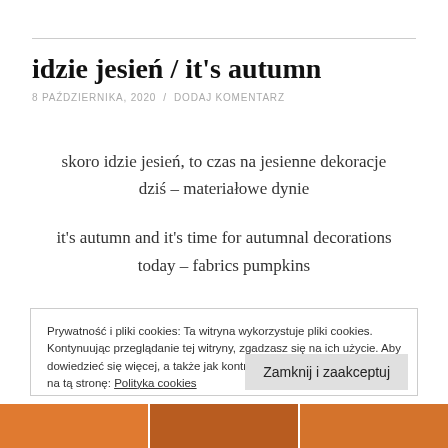idzie jesień / it's autumn
8 PAŹDZIERNIKA, 2020  /  DODAJ KOMENTARZ
skoro idzie jesień, to czas na jesienne dekoracje
dziś – materiałowe dynie

it's autumn and it's time for autumnal decorations
today – fabrics pumpkins
Prywatność i pliki cookies: Ta witryna wykorzystuje pliki cookies. Kontynuując przeglądanie tej witryny, zgadzasz się na ich użycie. Aby dowiedzieć się więcej, a także jak kontrolować pliki cookies, przejdź na tą stronę: Polityka cookies
Zamknij i zaakceptuj
[Figure (photo): Partial image strip at the bottom showing autumn decorations in orange tones]